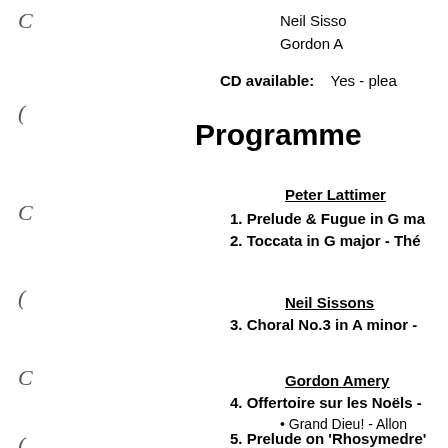Neil Sisso
Gordon A
CD available:   Yes - plea
Programme
Peter Lattimer
1. Prelude & Fugue in G ma
2. Toccata in G major - Thé
Neil Sissons
3. Choral No.3 in A minor -
Gordon Amery
4. Offertoire sur les Noëls -
Grand Dieu! - Allon
5. Prelude on 'Rhosymedre'
6. Thema met Variaties - Ho